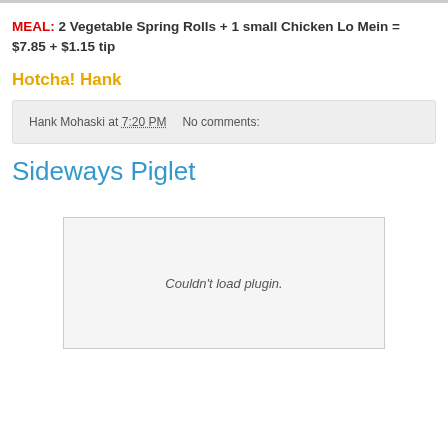MEAL: 2 Vegetable Spring Rolls + 1 small Chicken Lo Mein = $7.85 + $1.15 tip
Hotcha! Hank
Hank Mohaski at 7:20 PM   No comments:
Sideways Piglet
Couldn't load plugin.